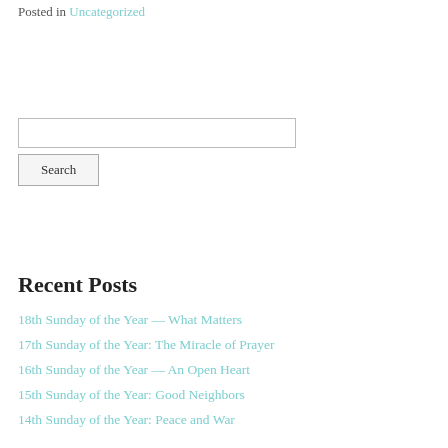Posted in Uncategorized
Search
Recent Posts
18th Sunday of the Year — What Matters
17th Sunday of the Year: The Miracle of Prayer
16th Sunday of the Year — An Open Heart
15th Sunday of the Year: Good Neighbors
14th Sunday of the Year: Peace and War